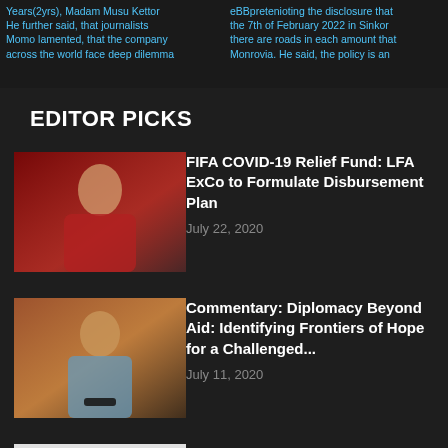Years(2yrs), Madam Musu Kettor He further said, that journalists Momo lamented, that the company across the world face deep dilemma eBBpretenioting the disclosure that the 7th of February 2022 in Sinkor there are roads in each amount that Monrovia. He said, the policy is an
EDITOR PICKS
[Figure (photo): Photo of a man in a red shirt seated, with a press background behind him]
FIFA COVID-19 Relief Fund: LFA ExCo to Formulate Disbursement Plan
July 22, 2020
[Figure (photo): Photo of a man in a blue suit with a bow tie, smiling]
Commentary: Diplomacy Beyond Aid: Identifying Frontiers of Hope for a Challenged...
July 11, 2020
[Figure (other): Document placeholder icon on light gray background]
Former President Sirleaf to Head WHO Panel to Review Handling of...
July 9, 2020